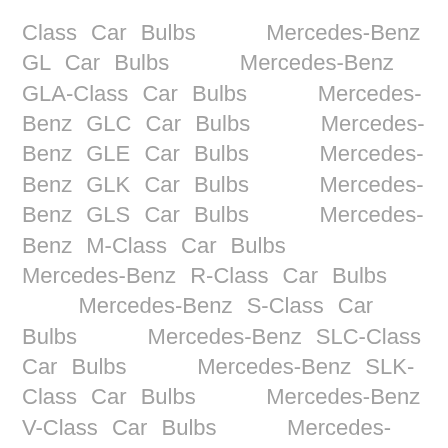Class Car Bulbs      Mercedes-Benz GL Car Bulbs      Mercedes-Benz GLA-Class Car Bulbs      Mercedes-Benz GLC Car Bulbs      Mercedes-Benz GLE Car Bulbs      Mercedes-Benz GLK Car Bulbs      Mercedes-Benz GLS Car Bulbs      Mercedes-Benz M-Class Car Bulbs      Mercedes-Benz R-Class Car Bulbs      Mercedes-Benz S-Class Car Bulbs      Mercedes-Benz SLC-Class Car Bulbs      Mercedes-Benz SLK-Class Car Bulbs      Mercedes-Benz V-Class Car Bulbs      Mercedes-Benz Viano Car Bulbs      Mercedes-Benz X-Class Car Bulbs      Mini Clubman Car Bulbs      Mini Countryman Car Bulbs      Mini Hatch Car Bulbs      Mini Paceman Car Bulbs      Mitsubishi ASX (10-…) bulb types      Mitsubishi Carisma Car Bulbs      Mitsubishi Colt Car Bulbs      Mitsubishi Lancer Car Bulbs      Home      Hyundai Sonata Car Bulbs      Hyundai Terracan Car Bulbs      Hyundai